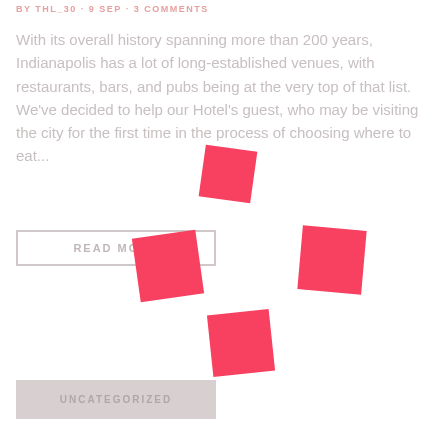BY THL_30 · 9 SEP · 3 COMMENTS
With its overall history spanning more than 200 years, Indianapolis has a lot of long-established venues, with restaurants, bars, and pubs being at the very top of that list. We've decided to help our Hotel's guest, who may be visiting the city for the first time in the process of choosing where to eat...
READ MORE
[Figure (illustration): Four pink/red decorative squares scattered across the page at various rotations]
UNCATEGORIZED
Footer text content partially visible at bottom of page